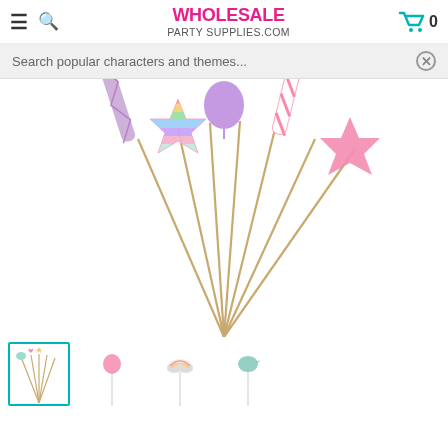WHOLESALE PARTY SUPPLIES.COM
Search popular characters and themes...
[Figure (photo): Party cake toppers/wand sticks fan arrangement — includes: lavender twisted candle stick, rainbow star topper on wood stick, purple balloon heart topper on stick, pink striped candle, and pink star wand topper, arranged in a fan shape on white background]
[Figure (photo): Thumbnail 1 (selected, teal border): small group of pastel party picks including bird, heart, star toppers]
[Figure (photo): Thumbnail 2: pink flamingo/unicorn pick on stick]
[Figure (photo): Thumbnail 3: rainbow cloud pick on stick]
[Figure (photo): Thumbnail 4: teal/mint bird pick on stick]